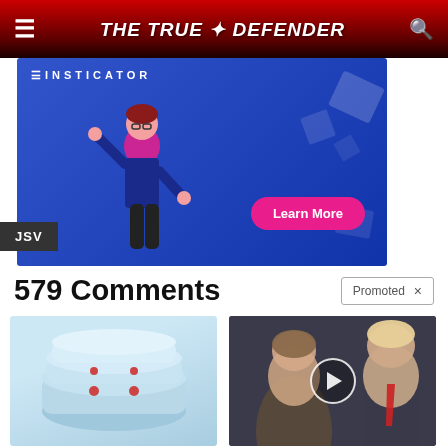THE TRUE DEFENDER
[Figure (illustration): Insticator advertisement banner with animated figure and Learn More button]
JSV
579 Comments
Promoted ×
[Figure (photo): Blue/teal ring-shaped ED device product photo]
Treat ED With Eddie — The Proven, Comfortable Wearable That Comes With A Satisfaction Guarantee
🔥 166,411
[Figure (photo): Political figures video thumbnail with play button overlay]
Top Democrats Fear This Video Getting Out — Watch Now Before It's Banned
🔥 316,947